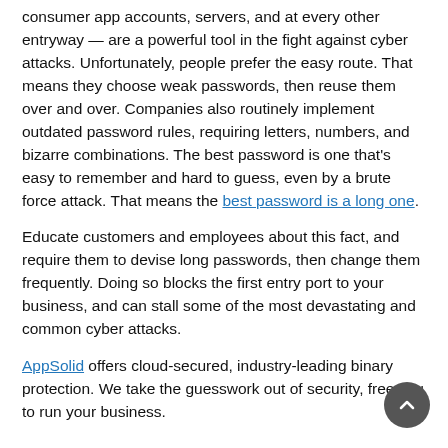consumer app accounts, servers, and at every other entryway — are a powerful tool in the fight against cyber attacks. Unfortunately, people prefer the easy route. That means they choose weak passwords, then reuse them over and over. Companies also routinely implement outdated password rules, requiring letters, numbers, and bizarre combinations. The best password is one that's easy to remember and hard to guess, even by a brute force attack. That means the best password is a long one.
Educate customers and employees about this fact, and require them to devise long passwords, then change them frequently. Doing so blocks the first entry port to your business, and can stall some of the most devastating and common cyber attacks.
AppSolid offers cloud-secured, industry-leading binary protection. We take the guesswork out of security, freeing you to run your business.